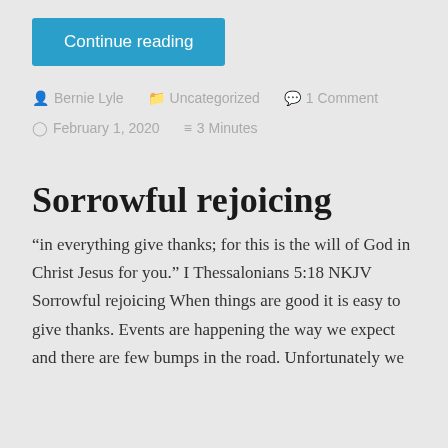Continue reading
Bernie Lyle   Uncategorized   1 Comment   February 1, 2020   3 Minutes
Sorrowful rejoicing
“in everything give thanks; for this is the will of God in Christ Jesus for you.” I Thessalonians 5:18 NKJV Sorrowful rejoicing When things are good it is easy to give thanks. Events are happening the way we expect and there are few bumps in the road. Unfortunately we